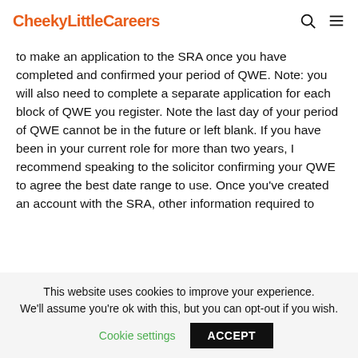CheekyLittleCareers
to make an application to the SRA once you have completed and confirmed your period of QWE. Note: you will also need to complete a separate application for each block of QWE you register. Note the last day of your period of QWE cannot be in the future or left blank. If you have been in your current role for more than two years, I recommend speaking to the solicitor confirming your QWE to agree the best date range to use. Once you've created an account with the SRA, other information required to
This website uses cookies to improve your experience. We'll assume you're ok with this, but you can opt-out if you wish. Cookie settings ACCEPT